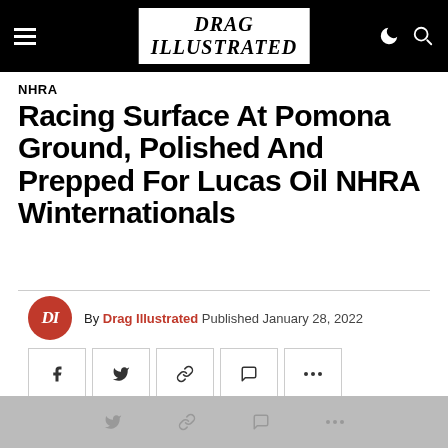Drag Illustrated
NHRA
Racing Surface At Pomona Ground, Polished And Prepped For Lucas Oil NHRA Winternationals
By Drag Illustrated Published January 28, 2022